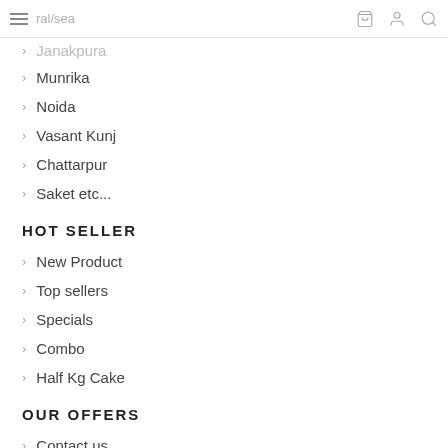≡  [logo/search icons]
Munrika
Noida
Vasant Kunj
Chattarpur
Saket etc...
HOT SELLER
New Product
Top sellers
Specials
Combo
Half Kg Cake
OUR OFFERS
Contact us
About Us